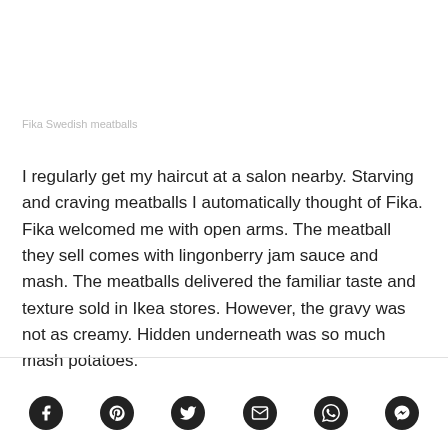Fika Swedish meatballs
I regularly get my haircut at a salon nearby. Starving and craving meatballs I automatically thought of Fika. Fika welcomed me with open arms. The meatball they sell comes with lingonberry jam sauce and mash. The meatballs delivered the familiar taste and texture sold in Ikea stores. However, the gravy was not as creamy. Hidden underneath was so much mash potatoes.
[Figure (other): Social media share icons: Facebook, Pinterest, Twitter, Email, WhatsApp, Messenger]